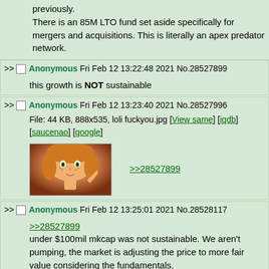previously.
There is an 85M LTO fund set aside specifically for mergers and acquisitions. This is literally an apex predator network.
Anonymous Fri Feb 12 13:22:48 2021 No.28527899
this growth is NOT sustainable
Anonymous Fri Feb 12 13:23:40 2021 No.28527996
File: 44 KB, 888x535, loli fuckyou.jpg [View same] [iqdb] [saucenao] [google]
[image]
>>28527899
Anonymous Fri Feb 12 13:25:01 2021 No.28528117
>>28527899
under $100mil mkcap was not sustainable. We aren't pumping, the market is adjusting the price to more fair value considering the fundamentals.
Anonymous Fri Feb 12 13:25:26 2021 No.28528166